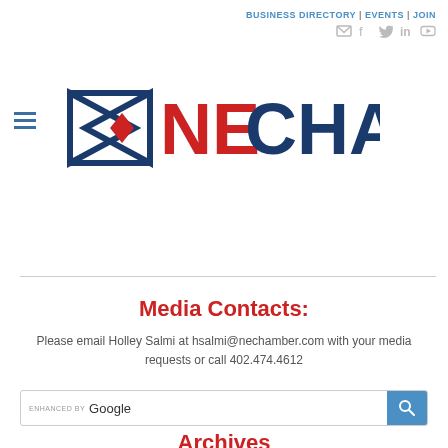BUSINESS DIRECTORY | EVENTS | JOIN
[Figure (logo): NE Chamber logo with diamond bowtie icon in red/navy and NECHAMBER text in red and navy blue]
Media Contacts:
Please email Holley Salmi at hsalmi@nechamber.com with your media requests or call 402.474.4612
[Figure (screenshot): Enhanced by Google search bar with blue search button]
Archives